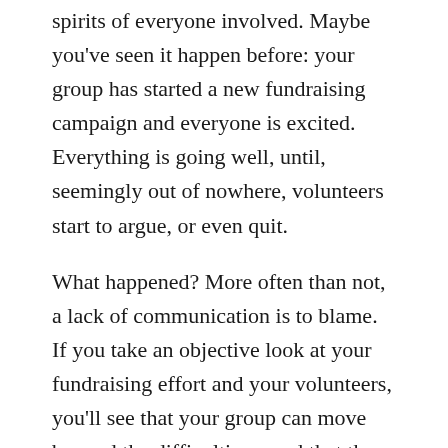spirits of everyone involved. Maybe you've seen it happen before: your group has started a new fundraising campaign and everyone is excited. Everything is going well, until, seemingly out of nowhere, volunteers start to argue, or even quit.
What happened? More often than not, a lack of communication is to blame. If you take an objective look at your fundraising effort and your volunteers, you'll see that your group can move beyond the difficulties – and that there is still hope for a great and successful fundraising campaign!
Communicate – Communicate –